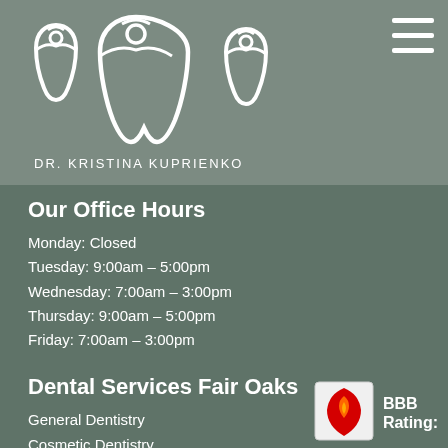[Figure (logo): Dr. Kristina Kuprienko dental logo with tooth icons and text DR. KRISTINA KUPRIENKO]
Our Office Hours
Monday: Closed
Tuesday: 9:00am – 5:00pm
Wednesday: 7:00am – 3:00pm
Thursday: 9:00am – 5:00pm
Friday: 7:00am – 3:00pm
Dental Services Fair Oaks
General Dentistry
Cosmetic Dentistry
Family Dentistry
Emergency Dentistry
Invisalign Clear Braces
[Figure (logo): Accessibility icon (person in circle)]
[Figure (logo): BBB logo with shield and flame icon]
BBB Rating: